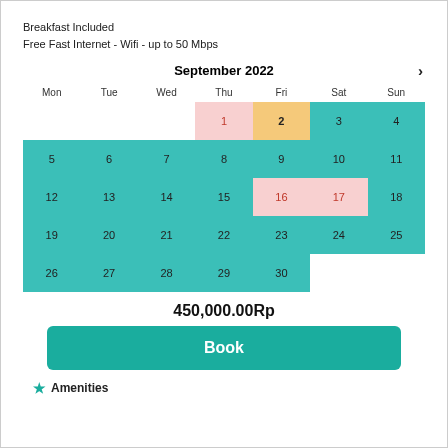Breakfast Included
Free Fast Internet - Wifi - up to 50 Mbps
| Mon | Tue | Wed | Thu | Fri | Sat | Sun |
| --- | --- | --- | --- | --- | --- | --- |
|  |  |  | 1 | 2 | 3 | 4 |
| 5 | 6 | 7 | 8 | 9 | 10 | 11 |
| 12 | 13 | 14 | 15 | 16 | 17 | 18 |
| 19 | 20 | 21 | 22 | 23 | 24 | 25 |
| 26 | 27 | 28 | 29 | 30 |  |  |
450,000.00Rp
Book
Amenities